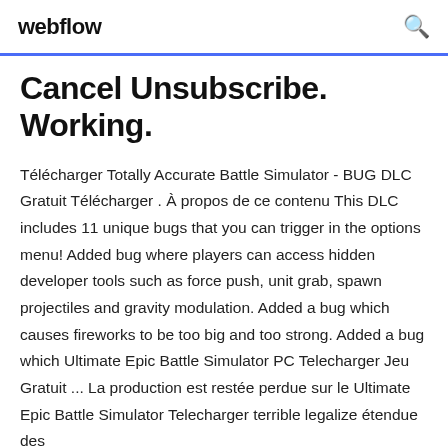webflow
Cancel Unsubscribe. Working.
Télécharger Totally Accurate Battle Simulator - BUG DLC Gratuit Télécharger . À propos de ce contenu This DLC includes 11 unique bugs that you can trigger in the options menu! Added bug where players can access hidden developer tools such as force push, unit grab, spawn projectiles and gravity modulation. Added a bug which causes fireworks to be too big and too strong. Added a bug which Ultimate Epic Battle Simulator PC Telecharger Jeu Gratuit ... La production est restée perdue sur le Ultimate Epic Battle Simulator Telecharger terrible legalize étendue des